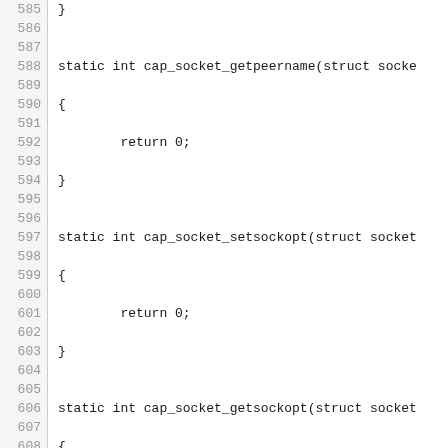[Figure (other): Source code listing in C, lines 585-615, showing static int socket security functions: cap_socket_getpeername, cap_socket_setsockopt, cap_socket_getsockopt, cap_socket_shutdown, cap_socket_sock_rcv_skb, cap_socket_getpeersec_stream, each returning 0.]